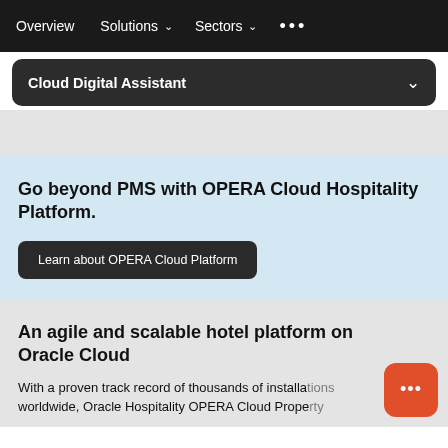Overview   Solutions   Sectors   ...
Cloud Digital Assistant
Go beyond PMS with OPERA Cloud Hospitality Platform.
Learn about OPERA Cloud Platform
An agile and scalable hotel platform on Oracle Cloud
With a proven track record of thousands of installations worldwide, Oracle Hospitality OPERA Cloud Propert...